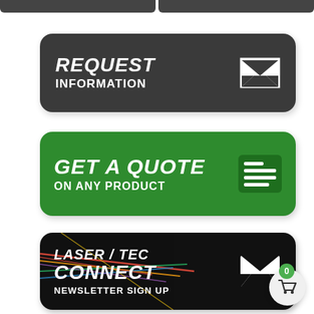[Figure (infographic): Dark rounded button with 'REQUEST INFORMATION' text and mail icon]
[Figure (infographic): Green rounded button with 'GET A QUOTE ON ANY PRODUCT' text and list icon]
[Figure (infographic): Black rounded button with 'LASER / TEC CONNECT NEWSLETTER SIGN UP' text with colorful laser lines and mail icon]
[Figure (infographic): Shopping cart floating button with green badge showing 0]